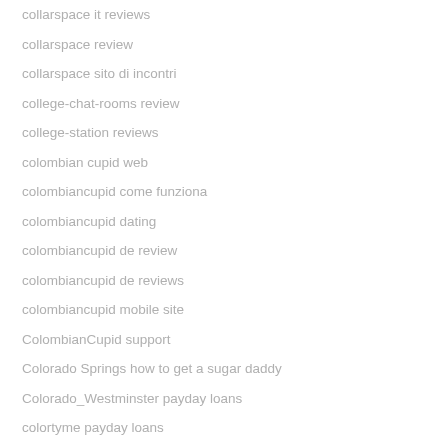collarspace it reviews
collarspace review
collarspace sito di incontri
college-chat-rooms review
college-station reviews
colombian cupid web
colombiancupid come funziona
colombiancupid dating
colombiancupid de review
colombiancupid de reviews
colombiancupid mobile site
ColombianCupid support
Colorado Springs how to get a sugar daddy
Colorado_Westminster payday loans
colortyme payday loans